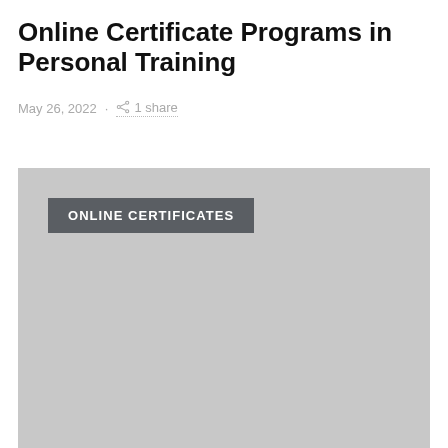Online Certificate Programs in Personal Training
May 26, 2022 · 1 share
[Figure (photo): Gray placeholder image with a dark gray badge/label reading 'ONLINE CERTIFICATES' in the upper left area]